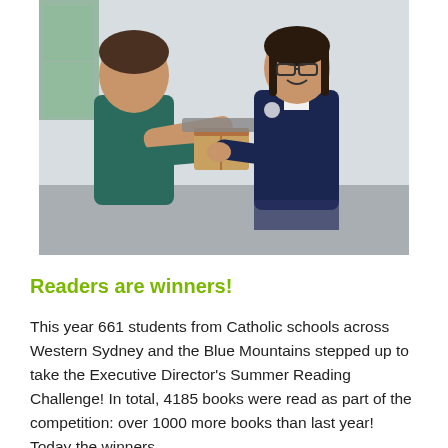[Figure (photo): Two students in a school setting — a boy in a dark teal t-shirt on the left and a girl in a navy school blazer with glasses on the right — exchanging a cardboard box (prize). They are standing indoors in front of a white wall.]
Readers are winners!
This year 661 students from Catholic schools across Western Sydney and the Blue Mountains stepped up to take the Executive Director's Summer Reading Challenge! In total, 4185 books were read as part of the competition: over 1000 more books than last year! Today the winners